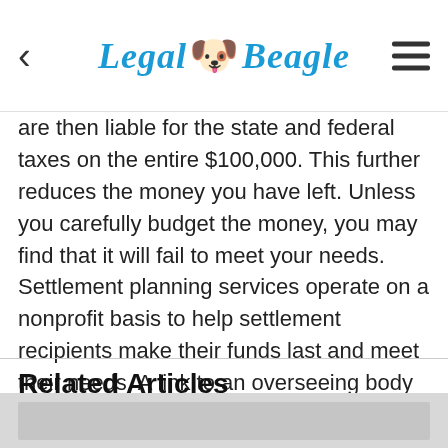Legal Beagle
are then liable for the state and federal taxes on the entire $100,000. This further reduces the money you have left. Unless you carefully budget the money, you may find that it will fail to meet your needs. Settlement planning services operate on a nonprofit basis to help settlement recipients make their funds last and meet their needs. A link to an overseeing body of this kind of business is listed in the Resources section.
Related Articles